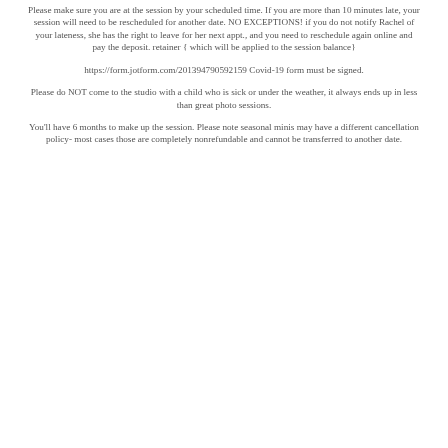Please make sure you are at the session by your scheduled time. If you are more than 10 minutes late, your session will need to be rescheduled for another date. NO EXCEPTIONS! if you do not notify Rachel of your lateness, she has the right to leave for her next appt., and you need to reschedule again online and pay the deposit. retainer { which will be applied to the session balance}
https://form.jotform.com/201394790592159 Covid-19 form must be signed.
Please do NOT come to the studio with a child who is sick or under the weather, it always ends up in less than great photo sessions.
You'll have 6 months to make up the session. Please note seasonal minis may have a different cancellation policy- most cases those are completely nonrefundable and cannot be transferred to another date.